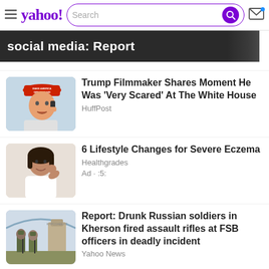yahoo! Search
[Figure (screenshot): Dark banner with text 'social media: Report' partially visible]
Trump Filmmaker Shares Moment He Was 'Very Scared' At The White House - HuffPost
6 Lifestyle Changes for Severe Eczema - Healthgrades - Ad
Report: Drunk Russian soldiers in Kherson fired assault rifles at FSB officers in deadly incident - Yahoo News